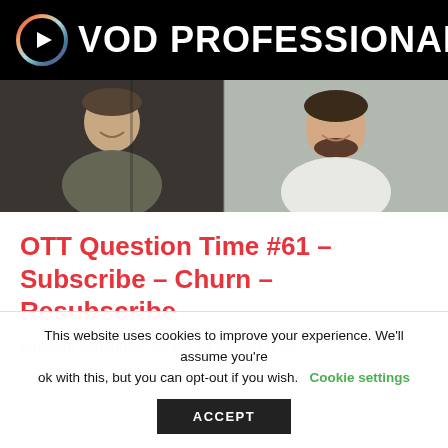VOD PROFESSIONAL
[Figure (photo): Video thumbnail showing two men in a split-screen video call format, both smiling. Left person wearing a grey t-shirt, right person wearing a white t-shirt.]
OTT Question Time #61 – Subscribe – Churn – Resubscribe
A recent consumer survey by Omdia (free
This website uses cookies to improve your experience. We'll assume you're ok with this, but you can opt-out if you wish. Cookie settings ACCEPT